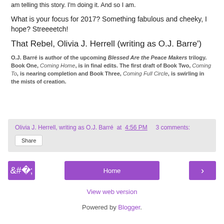am telling this story. I'm doing it.  And so I am.
What is your focus for 2017? Something fabulous and cheeky, I hope? Streeeetch!
That Rebel, Olivia J. Herrell (writing as O.J. Barre')
O.J. Barré is author of the upcoming Blessed Are the Peace Makers trilogy. Book One, Coming Home, is in final edits. The first draft of Book Two, Coming To, is nearing completion and Book Three, Coming Full Circle, is swirling in the mists of creation.
Olivia J. Herrell, writing as O.J. Barré at 4:56 PM    3 comments:
Share
Home
View web version
Powered by Blogger.